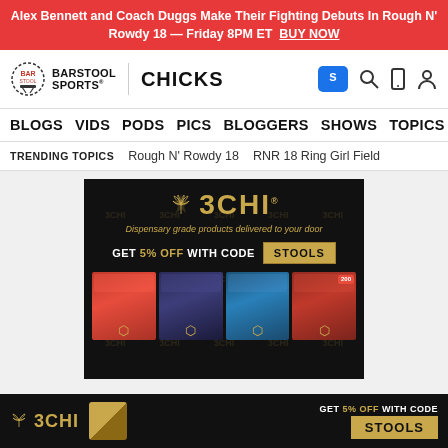Alex Bennett and Coach Duggs Make Their Fighting Debuts In Rough N' Rowdy 18 — Friday 8PM ET BUY NOW
[Figure (logo): Barstool Sports logo with circular dotted border and stool icon]
BLOGS VIDS PODS PICS BLOGGERS SHOWS TOPICS STORE
TRENDING TOPICS   Rough N' Rowdy 18   RNR 18 Ring Girl Field
[Figure (infographic): 3CHI advertisement banner — dispensary grade products delivered to your door, GET 5% OFF WITH CODE STOOLS, showing multiple product bags]
[Figure (infographic): 3CHI sticky bottom ad bar — GET 5% OFF WITH CODE STOOLS]